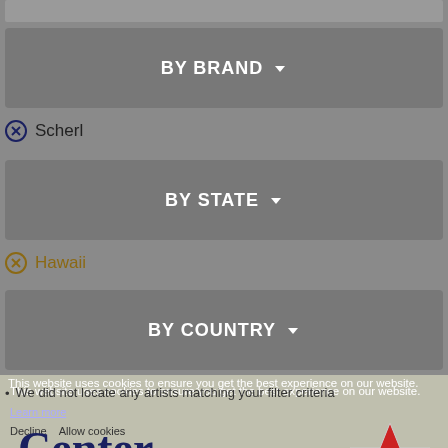BY BRAND ▼
⊗ Scherl
BY STATE ▼
⊗ Hawaii
BY COUNTRY ▼
We did not locate any artists matching your filter criteria
This website uses cookies to ensure you get the best experience on our website.
Learn more
Decline   Allow cookies
[Figure (logo): Center Stage logo with red star graphic]